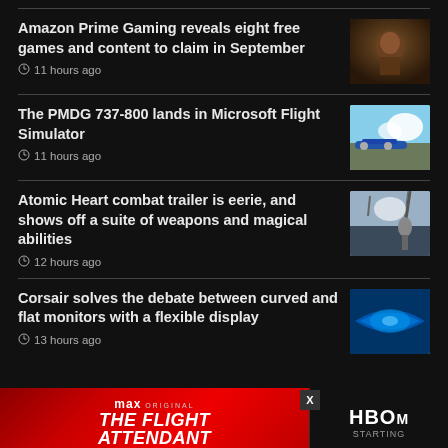Amazon Prime Gaming reveals eight free games and content to claim in September | 11 hours ago
The PMDG 737-800 lands in Microsoft Flight Simulator | 11 hours ago
Atomic Heart combat trailer is eerie, and shows off a suite of weapons and magical abilities | 12 hours ago
Corsair solves the debate between curved and flat monitors with a flexible display | 13 hours ago
[Figure (screenshot): Advertisement banner for 'The Flight Attendant' Max Original, overlaid at bottom of page, with HBO M Starting text on the right side and a close button.]